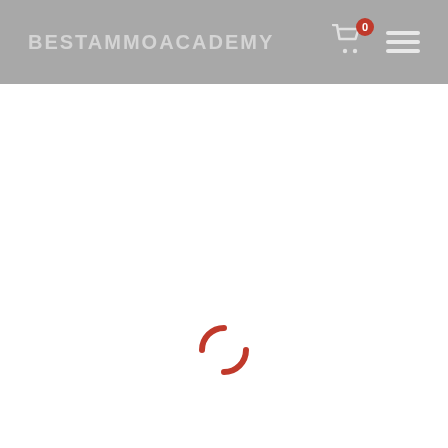BESTAMMOACADEMY
[Figure (screenshot): Loading spinner with two red arc segments forming a partial circle, indicating a page loading state]